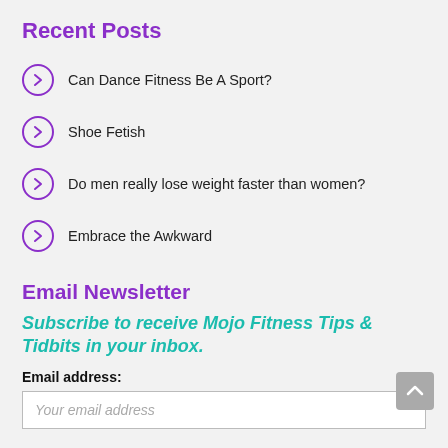Recent Posts
Can Dance Fitness Be A Sport?
Shoe Fetish
Do men really lose weight faster than women?
Embrace the Awkward
Email Newsletter
Subscribe to receive Mojo Fitness Tips & Tidbits in your inbox.
Email address:
Your email address